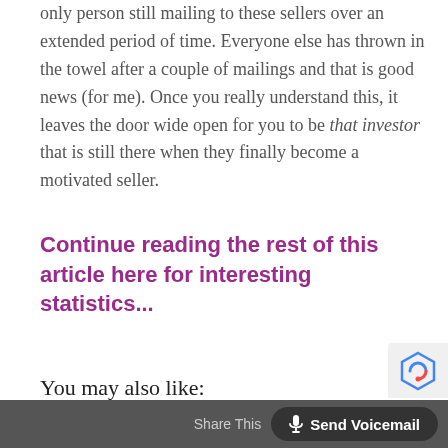only person still mailing to these sellers over an extended period of time. Everyone else has thrown in the towel after a couple of mailings and that is good news (for me). Once you really understand this, it leaves the door wide open for you to be that investor that is still there when they finally become a motivated seller.
Continue reading the rest of this article here for interesting statistics...
You may also like:
Share This  🎤 Send Voicemail